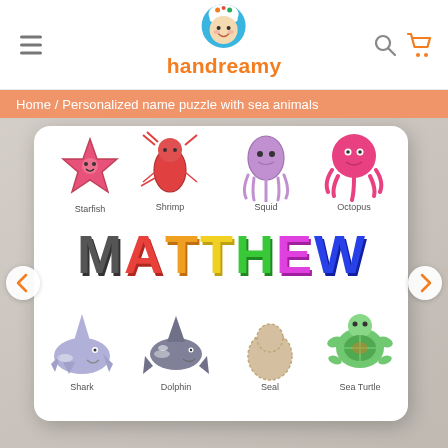handreamy
Home / Personalized name puzzle with sea animals
[Figure (photo): Product photo of a personalized wooden name puzzle with sea animals. The white puzzle board shows colorful cartoon sea animal pieces (Starfish, Shrimp, Squid, Octopus, Shark, Dolphin, Seal, Sea Turtle) arranged around large colorful letter pieces spelling MATTHEW. Navigation arrows appear on left and right sides of the photo.]